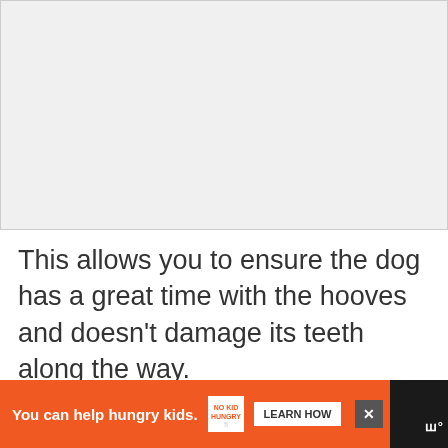[Figure (photo): Light gray rectangular image placeholder area at the top of the page]
This allows you to ensure the dog has a great time with the hooves and doesn’t damage its teeth along the way.
If you are worried about the dog’s health, you will want to pay attention to how...
[Figure (other): Advertisement banner: orange background with text 'You can help hungry kids.' with No Kid Hungry logo and 'LEARN HOW' button, on dark background with close X button and WN logo]